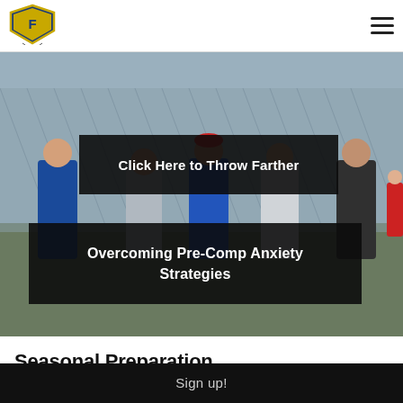[Figure (logo): Shield logo with letter F and text, gold and blue colors]
[Figure (photo): Athletes standing outdoors near a chain-link fence on a track or field, wearing blue hoodies and jackets]
Click Here to Throw Farther
Overcoming Pre-Comp Anxiety Strategies
Seasonal Preparation
Sign up!